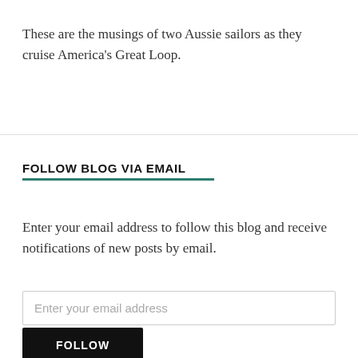These are the musings of two Aussie sailors as they cruise America's Great Loop.
FOLLOW BLOG VIA EMAIL
Enter your email address to follow this blog and receive notifications of new posts by email.
Enter your email address
FOLLOW